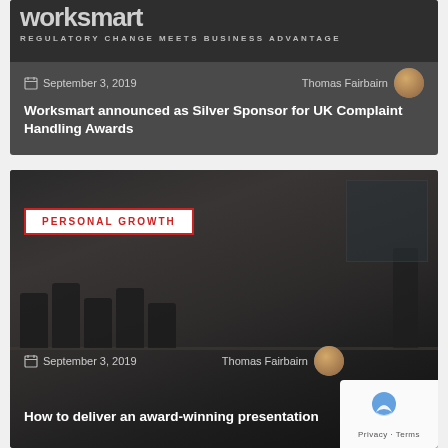[Figure (screenshot): Worksmart website header banner with logo text 'worksmart' and tagline 'REGULATORY CHANGE MEETS BUSINESS ADVANTAGE']
September 3, 2019    Thomas Fairbairn
Worksmart announced as Silver Sponsor for UK Complaint Handling Awards
[Figure (photo): Dark conference room scene with people seated at a table watching a presentation, badge reading PERSONAL GROWTH]
September 3, 2019    Thomas Fairbairn
How to deliver an award-winning presentation